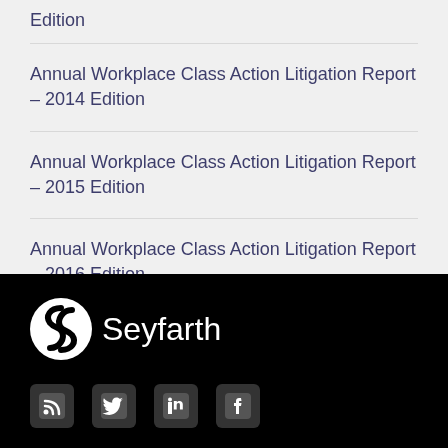Edition
Annual Workplace Class Action Litigation Report – 2014 Edition
Annual Workplace Class Action Litigation Report – 2015 Edition
Annual Workplace Class Action Litigation Report – 2016 Edition
Request Reports >>
[Figure (logo): Seyfarth law firm logo with stylized S icon and social media icons for RSS, Twitter, LinkedIn, and Facebook]